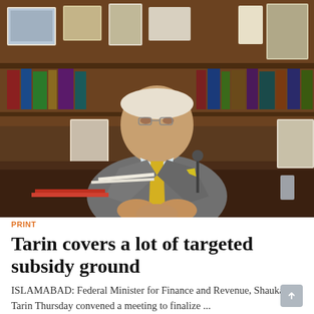[Figure (photo): Shaukat Tarin, Federal Minister for Finance and Revenue, seated at his office desk wearing a grey suit with yellow tie and pocket square, with framed photos and books visible on shelves behind him.]
PRINT
Tarin covers a lot of targeted subsidy ground
ISLAMABAD: Federal Minister for Finance and Revenue, Shaukat Tarin Thursday convened a meeting to finalize ...
UPDATED 07 MAY, 2021 10:05AM